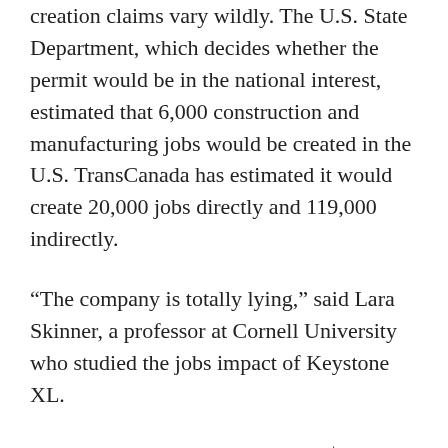creation claims vary wildly. The U.S. State Department, which decides whether the permit would be in the national interest, estimated that 6,000 construction and manufacturing jobs would be created in the U.S. TransCanada has estimated it would create 20,000 jobs directly and 119,000 indirectly.
"The company is totally lying," said Lara Skinner, a professor at Cornell University who studied the jobs impact of Keystone XL.
TransCanada claims it will spend $7 billion, but that includes money already spent on previous pipelines and money spent in Canada, Skinner said. Spending in the U.S. would be closer to $3.3 billion.